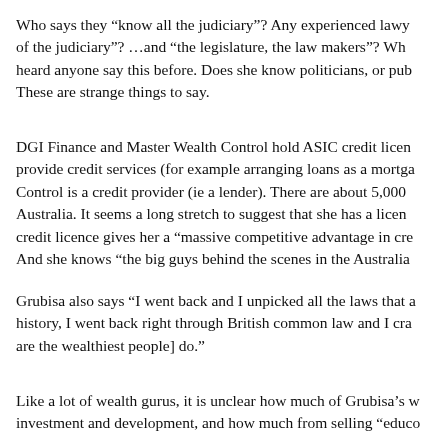Who says they “know all the judiciary”?  Any experienced lawy of the judiciary”?  …and “the legislature, the law makers”?  Wh heard anyone say this before.  Does she know politicians, or pub These are strange things to say.
DGI Finance and Master Wealth Control hold ASIC credit licen provide credit services (for example arranging loans as a mortga Control is a credit provider (ie a lender).  There are about 5,000 Australia.  It seems a long stretch to suggest that she has a licen credit licence gives her a “massive competitive advantage in cre And she knows “the big guys behind the scenes in the Australia
Grubisa also says “I went back and I unpicked all the laws that a history, I went back right through British common law and I cra are the wealthiest people] do.”
Like a lot of wealth gurus, it is unclear how much of Grubisa’s w investment and development, and how much from selling “educo